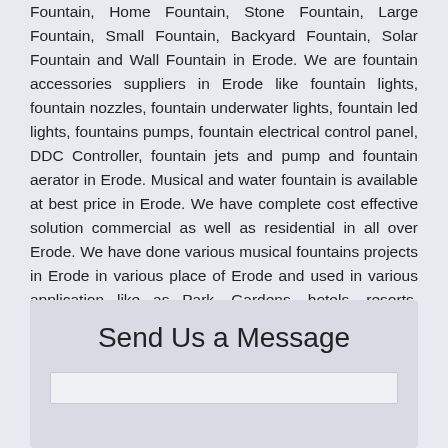Fountain, Home Fountain, Stone Fountain, Large Fountain, Small Fountain, Backyard Fountain, Solar Fountain and Wall Fountain in Erode. We are fountain accessories suppliers in Erode like fountain lights, fountain nozzles, fountain underwater lights, fountain led lights, fountains pumps, fountain electrical control panel, DDC Controller, fountain jets and pump and fountain aerator in Erode. Musical and water fountain is available at best price in Erode. We have complete cost effective solution commercial as well as residential in all over Erode. We have done various musical fountains projects in Erode in various place of Erode and used in various application like as Park, Gardens, hotels, resorts, offices, farm houses, restaurants and malls.
Send Us a Message